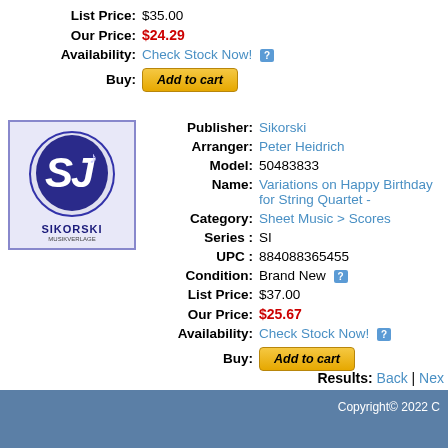List Price: $35.00
Our Price: $24.29
Availability: Check Stock Now!
Buy: Add to cart
[Figure (logo): Sikorski publisher logo — blue oval with 'SJ' letters and music note, text SIKORSKI below]
Publisher: Sikorski
Arranger: Peter Heidrich
Model: 50483833
Name: Variations on Happy Birthday for String Quartet -
Category: Sheet Music > Scores
Series : SI
UPC : 884088365455
Condition: Brand New
List Price: $37.00
Our Price: $25.67
Availability: Check Stock Now!
Buy: Add to cart
Results: Back | Next
Copyright© 2022 C